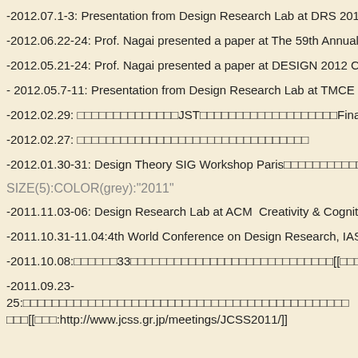-2012.07.1-3: Presentation from Design Research Lab at DRS 2012 C…
-2012.06.22-24: Prof. Nagai presented a paper at The 59th Annual Co…
-2012.05.21-24: Prof. Nagai presented a paper at DESIGN 2012 Con…
- 2012.05.7-11: Presentation from Design Research Lab at TMCE 20…
-2012.02.29: □□□□□□□□□□□□□□JST□□□□□□□□□□□□□□□□□□□Final!□□□□□□□□□□□□□□□□□□
-2012.02.27: □□□□□□□□□□□□□□□□□□□□□□□□□□□□□□
-2012.01.30-31: Design Theory SIG Workshop Paris□□□□□□□□□□□□□□□□□□
SIZE(5):COLOR(grey):"2011"
-2011.11.03-06: Design Research Lab at ACM  Creativity & Cognition…
-2011.10.31-11.04:4th World Conference on Design Research, IASD…
-2011.10.08:□□□□□□33□□□□□□□□□□□□□□□□□□□□□□□□□□□□□□□□[[□□□:http://www.japa…
-2011.09.23-25:□□□□□□□□□□□□□□□□□□□□□□□□□□□□□□□□□□□□□□□□□□□□□
□□□[[□□□:http://www.jcss.gr.jp/meetings/JCSS2011/]]